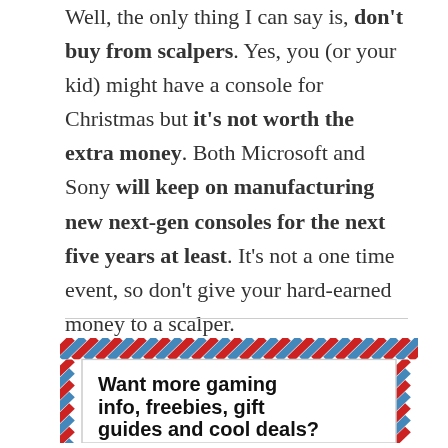Well, the only thing I can say is, don't buy from scalpers. Yes, you (or your kid) might have a console for Christmas but it's not worth the extra money. Both Microsoft and Sony will keep on manufacturing new next-gen consoles for the next five years at least. It's not a one time event, so don't give your hard-earned money to a scalper.
[Figure (infographic): Newsletter signup box with diagonal red and blue stripe border pattern around a white interior box containing bold text 'Want more gaming info, freebies, gift guides and cool deals?']